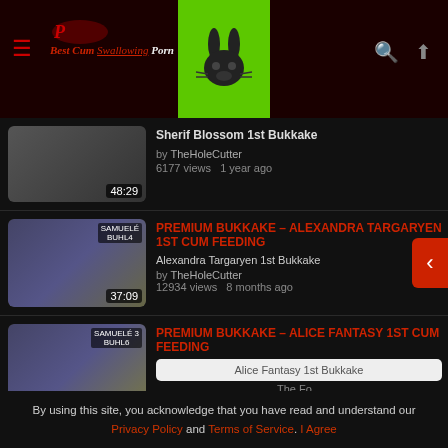[Figure (screenshot): Website header with logo 'Best Cum Swallowing Porn', green bunny mascot icon, hamburger menu, search and upload icons]
[Figure (screenshot): Video thumbnail with duration 48:29, partial card showing Sherif Blossom 1st Bukkake, by TheHoleCutter, 6177 views, 1 year ago]
PREMIUM BUKKAKE - ALEXANDRA TARGARYEN 1ST CUM FEEDING
Alexandra Targaryen 1st Bukkake
by TheHoleCutter
12934 views   8 months ago
PREMIUM BUKKAKE - ALICE FANTASY 1ST CUM FEEDING
Alice Fantasy 1st Bukkake
By using this site, you acknowledge that you have read and understand our Privacy Policy and Terms of Service. I Agree